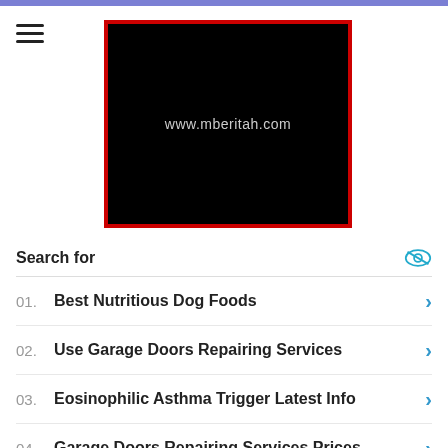[Figure (logo): Black square with red border containing text 'www.mberitah.com' in gray]
Search for
01. Best Nutritious Dog Foods
02. Use Garage Doors Repairing Services
03. Eosinophilic Asthma Trigger Latest Info
04. Garage Doors Repairing Services Prices